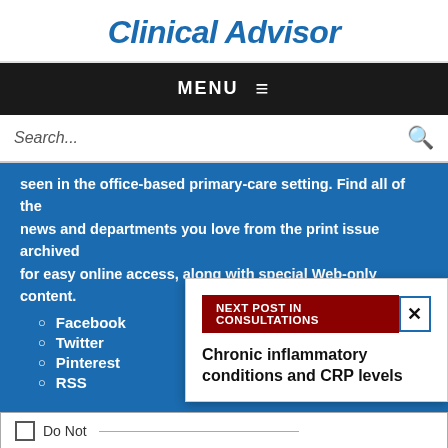Clinical Advisor
MENU ≡
Search...
seen in the office-based primary-care setting. Find all of the news and departments you love from the print issue archived for easy online access, along with special Web-only content.
Facebook
Twitter
Pinterest
RSS
NEXT POST IN CONSULTATIONS
Chronic inflammatory conditions and CRP levels
Do Not